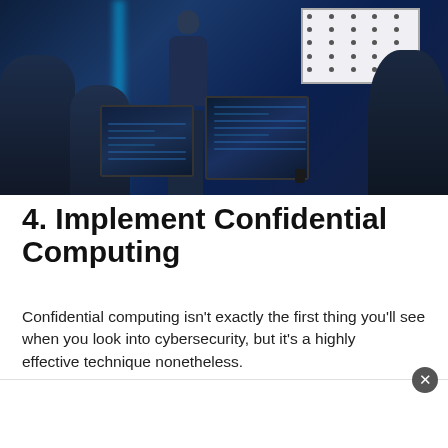[Figure (photo): A cybersecurity classroom or operations center scene with people seated at computers with multiple monitors displaying software interfaces. A presenter stands at a podium in front of a projected screen showing a network diagram. The room has a dark blue ambiance with blue LED lighting on the walls.]
4. Implement Confidential Computing
Confidential computing isn't exactly the first thing you'll see when you look into cybersecurity, but it's a highly effective technique nonetheless.